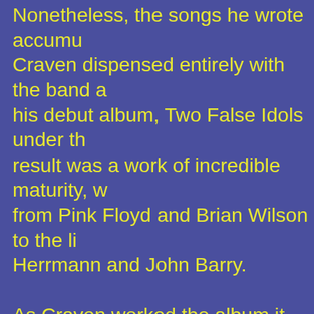Nonetheless, the songs he wrote accumu Craven dispensed entirely with the band a his debut album, Two False Idols under th result was a work of incredible maturity, w from Pink Floyd and Brian Wilson to the li Herrmann and John Barry.

As Craven worked the album it became p music business was in the midst of a sea old guard didn't seem to realise they were he took an anti-DRM stance and released Under Deconstruction as a high-quality fre

Craven stepped up a gear for his sophom Terrible Potions. Delivering on the cinema Idols, Potions went widescreen as Craven between conventional song and orche